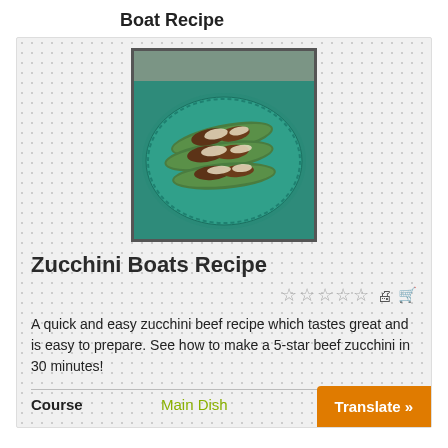Boat Recipe
[Figure (photo): Zucchini boats filled with ground beef and melted cheese, served on a teal decorative plate]
Zucchini Boats Recipe
A quick and easy zucchini beef recipe which tastes great and is easy to prepare. See how to make a 5-star beef zucchini in 30 minutes!
Course   Main Dish
Translate »